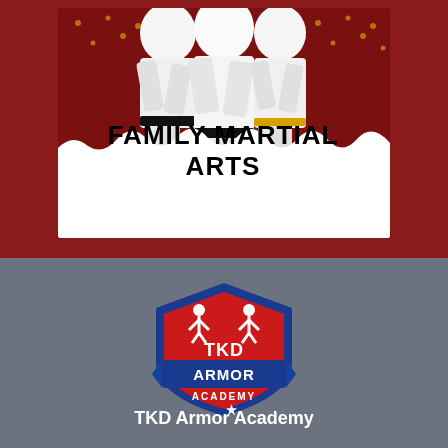[Figure (photo): Children in white martial arts uniforms (gi) in action poses against a dark red background with gold dot pattern. The image has a torn paper effect revealing a white area in the middle.]
FAMILY MARTIAL ARTS
[Figure (logo): TKD Armor Academy shield logo with red center, blue border, two white karate figure silhouettes, and text reading TKD ARMOR ACADEMY with a star at the bottom.]
TKD Armor Academy